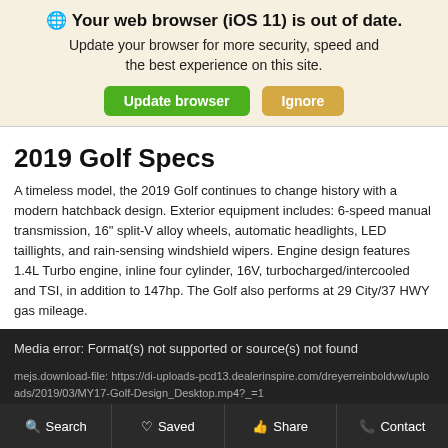🌐 Your web browser (iOS 11) is out of date. Update your browser for more security, speed and the best experience on this site.
Update browser | Ignore
2019 Golf Specs
A timeless model, the 2019 Golf continues to change history with a modern hatchback design. Exterior equipment includes: 6-speed manual transmission, 16" split-V alloy wheels, automatic headlights, LED taillights, and rain-sensing windshield wipers. Engine design features 1.4L Turbo engine, inline four cylinder, 16V, turbocharged/intercooled and TSI, in addition to 147hp. The Golf also performs at 29 City/37 HWY gas mileage.
[Figure (screenshot): Media error box with dark background. Shows: 'Media error: Format(s) not supported or source(s) not found' and 'mejs.download-file: https://di-uploads-pcd13.dealerinspire.com/dreyerreinboldvw/uploads/2019/03/MY17-Golf-Design_Desktop.mp4?_=1']
Search | Saved | Share | Contact